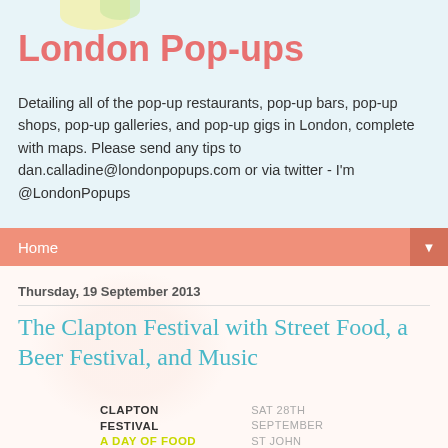London Pop-ups
Detailing all of the pop-up restaurants, pop-up bars, pop-up shops, pop-up galleries, and pop-up gigs in London, complete with maps. Please send any tips to dan.calladine@londonpopups.com or via twitter - I'm @LondonPopups
Home
Thursday, 19 September 2013
The Clapton Festival with Street Food, a Beer Festival, and Music
[Figure (other): Clapton Festival event poster text: CLAPTON FESTIVAL A DAY OF FOOD | SAT 28TH SEPTEMBER ST JOHN]